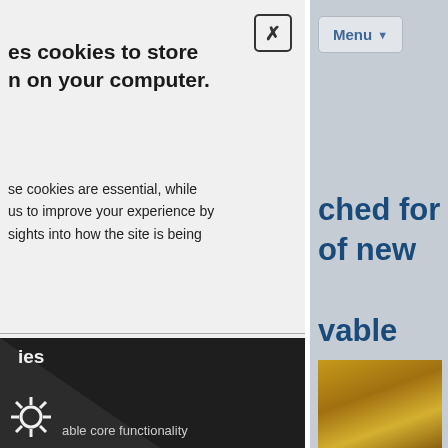[Figure (screenshot): A website screenshot showing a cookie consent dialog overlaid on a webpage. The left panel is light gray with a cookie notice modal, and the right panel shows a gray website background with a 'Menu' button and blue headline text partially visible.]
es cookies to store n on your computer.
se cookies are essential, while us to improve your experience by sights into how the site is being
ookies
Accept Cookies
Menu
ched for of new vable game
ies
able core functionality